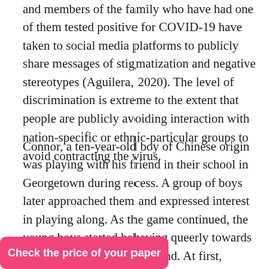and members of the family who have had one of them tested positive for COVID-19 have taken to social media platforms to publicly share messages of stigmatization and negative stereotypes (Aguilera, 2020). The level of discrimination is extreme to the extent that people are publicly avoiding interaction with nation-specific or ethnic-particular groups to avoid contracting the virus.
Connor, a ten-year-old boy of Chinese origin was playing with his friend in their school in Georgetown during recess. A group of boys later approached them and expressed interest in playing along. As the game continued, the young boys started behaving queerly towards Connor and his Chinese friend. At first, Connor continued playing unoffended but later became upset because of the stereotype and ill-treatment. Nadia, Connor's mother explained that [text obscured] ed out of fear and [text obscured] ough acting out of
Check the price of your paper